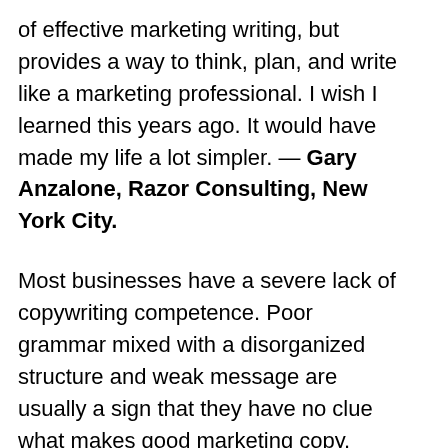of effective marketing writing, but provides a way to think, plan, and write like a marketing professional. I wish I learned this years ago. It would have made my life a lot simpler. — Gary Anzalone, Razor Consulting, New York City.
Most businesses have a severe lack of copywriting competence. Poor grammar mixed with a disorganized structure and weak message are usually a sign that they have no clue what makes good marketing copy. Thanks to a preview of Gil's new book, our entire direct marketing creative team is thinking like Madison